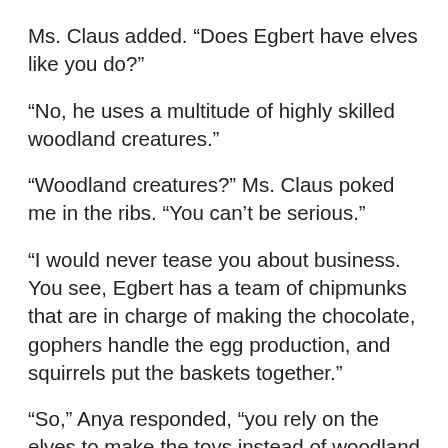Ms. Claus added. “Does Egbert have elves like you do?”
“No, he uses a multitude of highly skilled woodland creatures.”
“Woodland creatures?” Ms. Claus poked me in the ribs. “You can’t be serious.”
“I would never tease you about business. You see, Egbert has a team of chipmunks that are in charge of making the chocolate, gophers handle the egg production, and squirrels put the baskets together.”
“So,” Anya responded, “you rely on the elves to make the toys instead of woodland creatures. Egbert just uses a different system.”
“That’s true,” I mused, stroking my beard. “I guess I’m a bit envious because as I rely on